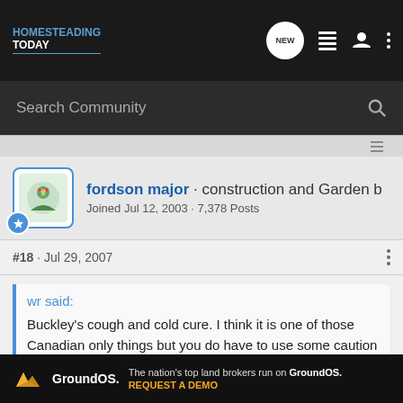HOMESTEADING TODAY
Search Community
fordson major · construction and Garden b
Joined Jul 12, 2003 · 7,378 Posts
#18 · Jul 29, 2007
wr said:
Buckley's cough and cold cure. I think it is one of those Canadian only things but you do have to use some caution when the company catch phrase is, 'it tastes awful - but it works.' It consists of nothing but camphor, pine needles and a few other easy to read ingredients and has no sugar, no alcohol and nothing but one or two syllable ingredients. Every Canadian child shuddered when they saw the brown ... if it was
[Figure (screenshot): GroundOS advertisement banner: 'The nation's top land brokers run on GroundOS. REQUEST A DEMO']